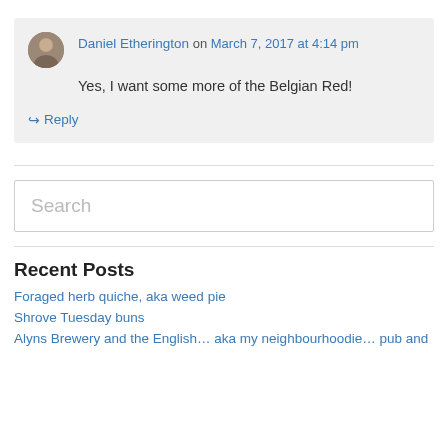Daniel Etherington on March 7, 2017 at 4:14 pm
Yes, I want some more of the Belgian Red!
↳ Reply
Recent Posts
Foraged herb quiche, aka weed pie
Shrove Tuesday buns
Alyns Brewery and the English… aka my neighbourhoodie… pub and